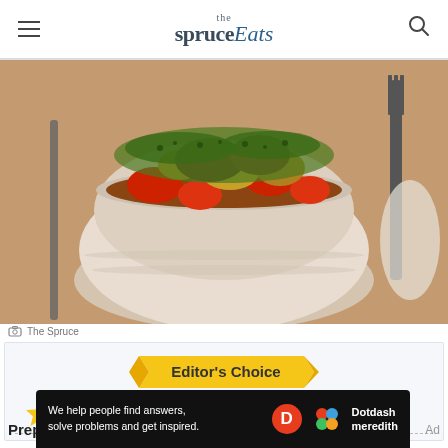the spruce Eats
[Figure (photo): A white ceramic bowl filled with braised meat stew topped with herbs, with tomatoes and potatoes visible, on a wooden board with a fork in the background]
The Spruce
[Figure (infographic): Editor's Choice badge - gold ribbon banner with text 'Editor's Choice']
97 RATINGS
Prep: 15 mins
[Figure (infographic): Dotdash Meredith advertisement banner: 'We help people find answers, solve problems and get inspired.']